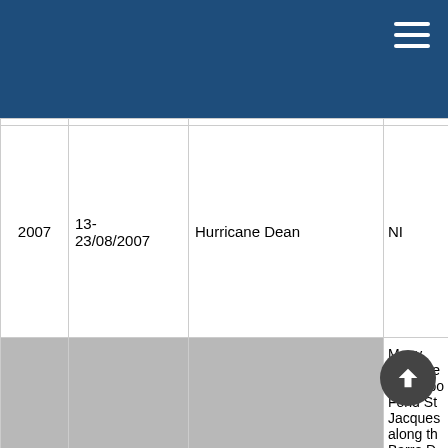| Year | Date | Event | Details |
| --- | --- | --- | --- |
| 2007 | 13-23/08/2007 | Hurricane Dean | NI |
| 2010 | 30-31/10/2010 | Hurricane Tomas | Many landslides Colombo, Fond St. Jacques along the Barre D L'ile, M ... hills east and sou... |